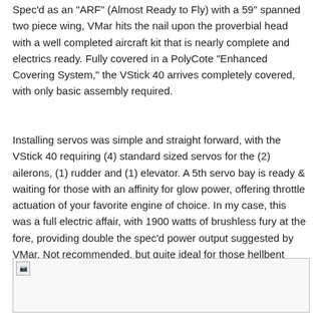Spec'd as an "ARF" (Almost Ready to Fly) with a 59" spanned two piece wing, VMar hits the nail upon the proverbial head with a well completed aircraft kit that is nearly complete and electrics ready. Fully covered in a PolyCote "Enhanced Covering System," the VStick 40 arrives completely covered, with only basic assembly required.
Installing servos was simple and straight forward, with the VStick 40 requiring (4) standard sized servos for the (2) ailerons, (1) rudder and (1) elevator. A 5th servo bay is ready & waiting for those with an affinity for glow power, offering throttle actuation of your favorite engine of choice. In my case, this was a full electric affair, with 1900 watts of brushless fury at the fore, providing double the spec'd power output suggested by VMar. Not recommended, but quite ideal for those hellbent upon a need for speed.
[Figure (photo): Broken image placeholder — photo of VMar VStick 40 aircraft]